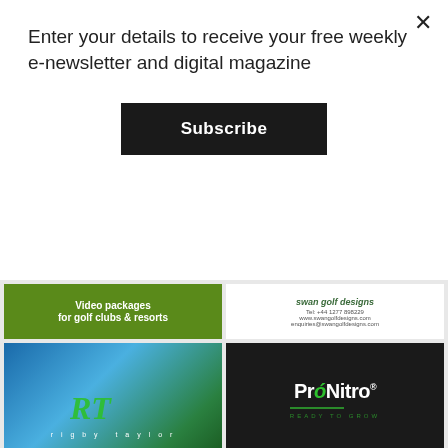Enter your details to receive your free weekly e-newsletter and digital magazine
Subscribe
[Figure (logo): Video packages for golf clubs & resorts ad banner (green/dark background)]
[Figure (logo): Swan Golf Designs ad banner with contact info]
[Figure (logo): Rigby Taylor logo on blue-green gradient background]
[Figure (logo): ProNitro - Ready to Grow logo on black background]
[Figure (logo): NGCAA logo with balance scales icon]
[Figure (logo): John Deere logo with leaping deer in green circle]